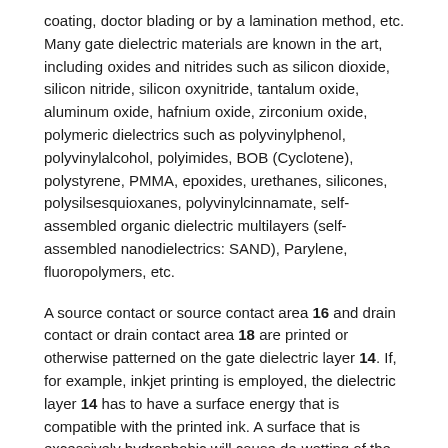coating, doctor blading or by a lamination method, etc. Many gate dielectric materials are known in the art, including oxides and nitrides such as silicon dioxide, silicon nitride, silicon oxynitride, tantalum oxide, aluminum oxide, hafnium oxide, zirconium oxide, polymeric dielectrics such as polyvinylphenol, polyvinylalcohol, polyimides, BOB (Cyclotene), polystyrene, PMMA, epoxides, urethanes, silicones, polysilsesquioxanes, polyvinylcinnamate, self-assembled organic dielectric multilayers (self-assembled nanodielectrics: SAND), Parylene, fluoropolymers, etc.
A source contact or source contact area 16 and drain contact or drain contact area 18 are printed or otherwise patterned on the gate dielectric layer 14. If, for example, inkjet printing is employed, the dielectric layer 14 has to have a surface energy that is compatible with the printed ink. A surface that is excessively hydrophobic will cause de-wetting of the ink and an excessively hydrophilic surface will cause spreading of the ink. In one example, an ink-jet ink is based on a water/ethylene glycol solvent and a 20% loading of silver nanoparticles. The dielectric surface is a polyvinylphenol polymer with a water contact